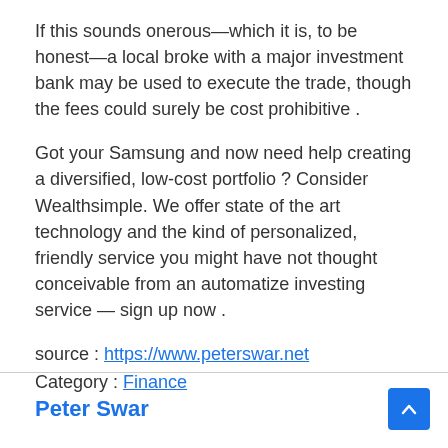If this sounds onerous—which it is, to be honest—a local broke with a major investment bank may be used to execute the trade, though the fees could surely be cost prohibitive .
Got your Samsung and now need help creating a diversified, low-cost portfolio ? Consider Wealthsimple. We offer state of the art technology and the kind of personalized, friendly service you might have not thought conceivable from an automatize investing service — sign up now .
source : https://www.peterswar.net
Category : Finance
Peter Swar